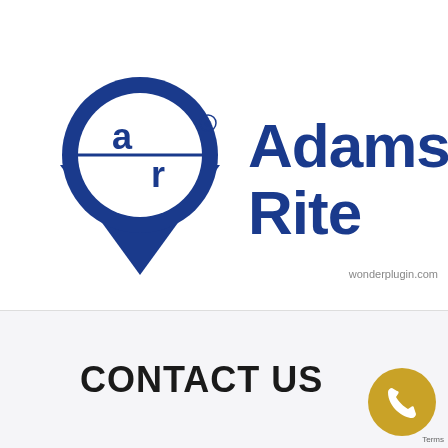[Figure (logo): Adams Rite logo with circular AR emblem and blue triangle, alongside bold blue 'Adams Rite' text and watermark 'wonderplugin.com']
CONTACT US